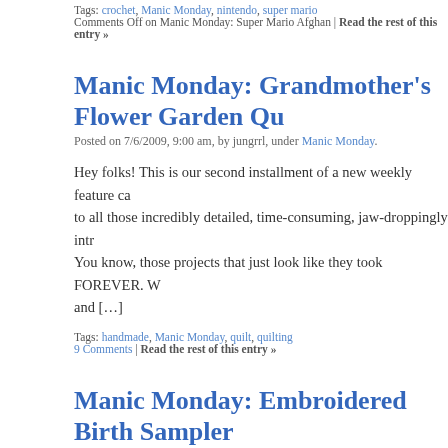Tags: crochet, Manic Monday, nintendo, super mario
Comments Off on Manic Monday: Super Mario Afghan | Read the rest of this entry »
Manic Monday: Grandmother's Flower Garden Qu…
Posted on 7/6/2009, 9:00 am, by jungrrl, under Manic Monday.
Hey folks! This is our second installment of a new weekly feature ca… to all those incredibly detailed, time-consuming, jaw-droppingly intr… You know, those projects that just look like they took FOREVER. W… and […]
Tags: handmade, Manic Monday, quilt, quilting
9 Comments | Read the rest of this entry »
Manic Monday: Embroidered Birth Sampler
Posted on 6/29/2009, 2:05 pm, by jungrrl, under Manic Monday.
Hey folks! This is a brand new weekly feature we're starting called… all those incredibly detailed, time-consuming, jaw-droppingly intric… You know, those projects that just look like they took FOREVER. W… and crazy […]
Tags: children, embroidery, Manic Monday, sampler
3 Comments | Read the rest of this entry »